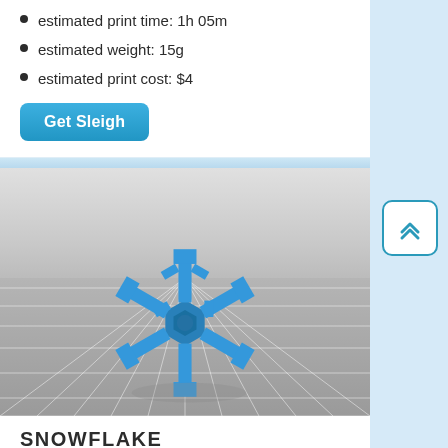estimated print time: 1h 05m
estimated weight: 15g
estimated print cost: $4
Get Sleigh
[Figure (photo): 3D rendered snowflake object in blue on a gray grid surface]
SNOWFLAKE